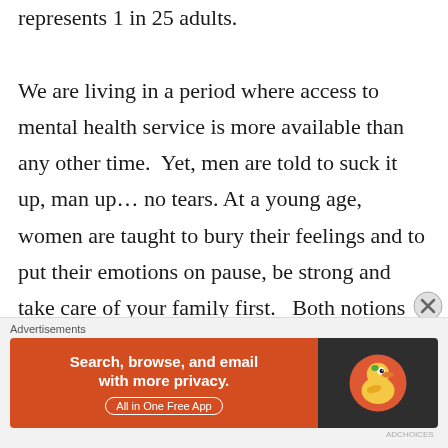represents 1 in 25 adults. We are living in a period where access to mental health service is more available than any other time. Yet, men are told to suck it up, man up... no tears. At a young age, women are taught to bury their feelings and to put their emotions on pause, be strong and take care of your family first. Both notions are misguided. Lack of treatment will create an environment of suffering for you,
[Figure (other): DuckDuckGo advertisement banner: orange left panel reading 'Search, browse, and email with more privacy. All in One Free App' and dark right panel with DuckDuckGo duck logo. Labeled 'Advertisements' above.]